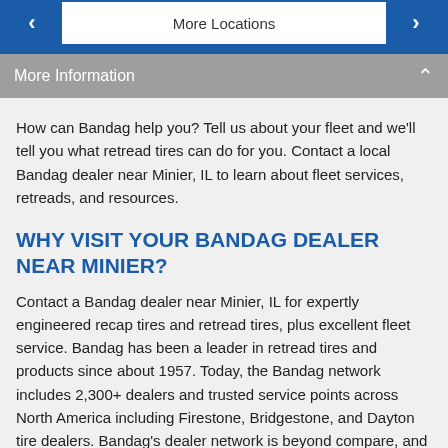[Figure (screenshot): Navigation bar with left arrow, 'More Locations' center text, and right arrow, with blue border and blue arrow buttons]
More Information
How can Bandag help you? Tell us about your fleet and we'll tell you what retread tires can do for you. Contact a local Bandag dealer near Minier, IL to learn about fleet services, retreads, and resources.
WHY VISIT YOUR BANDAG DEALER NEAR MINIER?
Contact a Bandag dealer near Minier, IL for expertly engineered recap tires and retread tires, plus excellent fleet service. Bandag has been a leader in retread tires and products since about 1957. Today, the Bandag network includes 2,300+ dealers and trusted service points across North America including Firestone, Bridgestone, and Dayton tire dealers. Bandag's dealer network is beyond compare, and our pledge to excellence and innovation is firm. Whether you're an owner-operator or manage a fleet of local